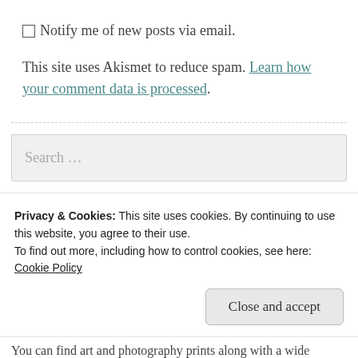Notify me of new posts via email.
This site uses Akismet to reduce spam. Learn how your comment data is processed.
Search …
Follow On Social Media
Privacy & Cookies: This site uses cookies. By continuing to use this website, you agree to their use.
To find out more, including how to control cookies, see here: Cookie Policy
You can find art and photography prints along with a wide